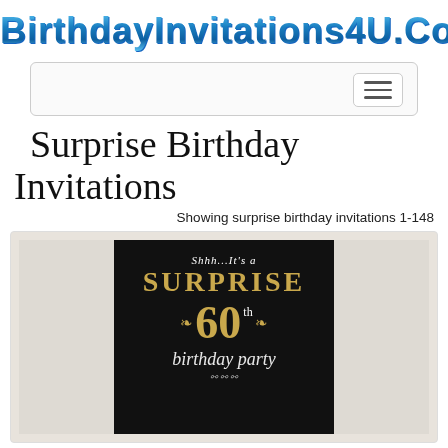BirthdayInvitations4U.Com
[Figure (screenshot): Navigation bar with hamburger menu button on the right]
Surprise Birthday Invitations
Showing surprise birthday invitations 1-148
[Figure (photo): Black surprise 60th birthday party invitation card on marble background. Text reads: Shhh...It's a SURPRISE 60th birthday party]